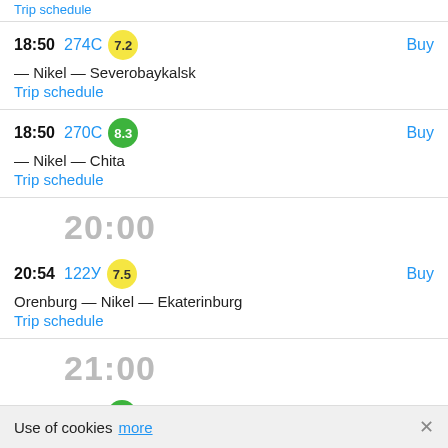Trip schedule
18:50  274С  7.2  Buy  — Nikel — Severobaykalsk  Trip schedule
18:50  270С  8.3  Buy  — Nikel — Chita  Trip schedule
20:00
20:54  122У  7.5  Buy  Orenburg — Nikel — Ekaterinburg  Trip schedule
21:00
21:11  131У  8.4  Buy
Use of cookies  more  ×